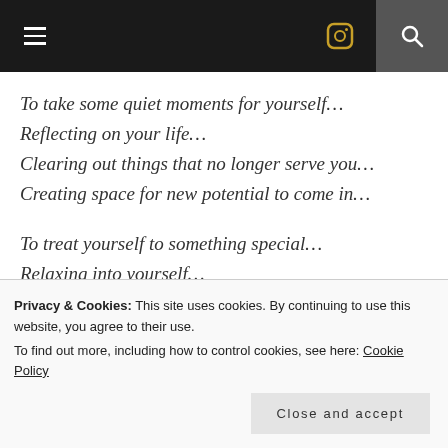≡  [instagram icon]  [search icon]
To take some quiet moments for yourself…
Reflecting on your life…
Clearing out things that no longer serve you…
Creating space for new potential to come in…
To treat yourself to something special…
Relaxing into yourself…
Having fun and laughter…
Indulging in life's beauty and grace…
Privacy & Cookies: This site uses cookies. By continuing to use this website, you agree to their use.
To find out more, including how to control cookies, see here: Cookie Policy
Close and accept